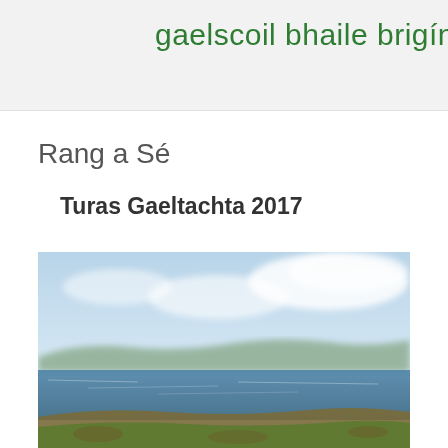gaelscoil bhaile brigín
Rang a Sé
Turas Gaeltachta 2017
[Figure (photo): Scenic landscape photograph showing a coastal or lake view with blue sky, clouds, calm water, distant hills and green foreground — likely an Irish Gaeltacht countryside scene.]